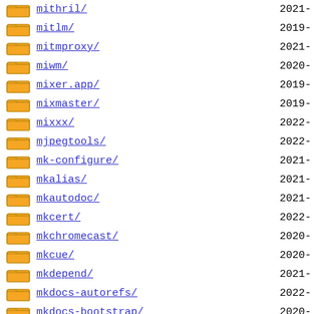mithril/ 2021-
mitlm/ 2019-
mitmproxy/ 2021-
miwm/ 2020-
mixer.app/ 2019-
mixmaster/ 2019-
mixxx/ 2022-
mjpegtools/ 2022-
mk-configure/ 2021-
mkalias/ 2021-
mkautodoc/ 2021-
mkcert/ 2022-
mkchromecast/ 2020-
mkcue/ 2020-
mkdepend/ 2021-
mkdocs-autorefs/ 2022-
mkdocs-bootstrap/ 2020-
mkdocs-bootswatch/ 2019-